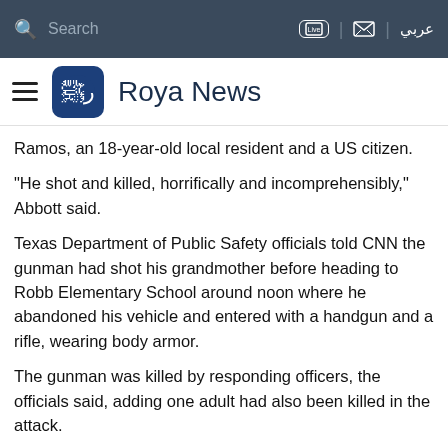Search | Live | [mail] | عربي
Roya News
Ramos, an 18-year-old local resident and a US citizen.
"He shot and killed, horrifically and incomprehensibly," Abbott said.
Texas Department of Public Safety officials told CNN the gunman had shot his grandmother before heading to Robb Elementary School around noon where he abandoned his vehicle and entered with a handgun and a rifle, wearing body armor.
The gunman was killed by responding officers, the officials said, adding one adult had also been killed in the attack.
Footage showed small groups of children weaving through parked cars and yellow buses, some holding hands as they fled under police escort from the school, which teaches students aged around seven to 10 years